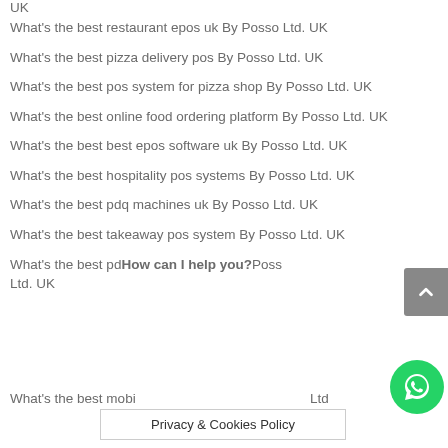UK
What's the best restaurant epos uk By Posso Ltd. UK
What's the best pizza delivery pos By Posso Ltd. UK
What's the best pos system for pizza shop By Posso Ltd. UK
What's the best online food ordering platform By Posso Ltd. UK
What's the best best epos software uk By Posso Ltd. UK
What's the best hospitality pos systems By Posso Ltd. UK
What's the best pdq machines uk By Posso Ltd. UK
What's the best takeaway pos system By Posso Ltd. UK
What's the best pd… By Posso Ltd. UK
What's the best mobi… Ltd.
How can I help you?
Privacy & Cookies Policy